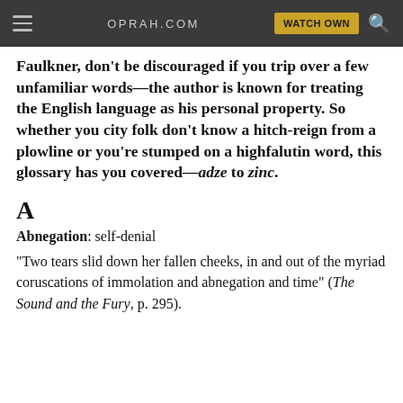OPRAH.COM  WATCH OWN
Faulkner, don't be discouraged if you trip over a few unfamiliar words—the author is known for treating the English language as his personal property. So whether you city folk don't know a hitch-reign from a plowline or you're stumped on a highfalutin word, this glossary has you covered—adze to zinc.
A
Abnegation: self-denial
"Two tears slid down her fallen cheeks, in and out of the myriad coruscations of immolation and abnegation and time" (The Sound and the Fury, p. 295).